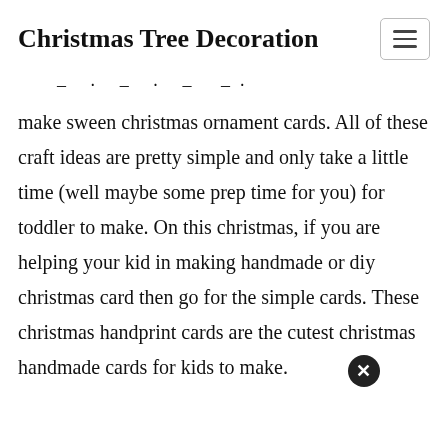Christmas Tree Decoration
– · – · –
make sween christmas ornament cards. All of these craft ideas are pretty simple and only take a little time (well maybe some prep time for you) for toddler to make. On this christmas, if you are helping your kid in making handmade or diy christmas card then go for the simple cards. These christmas handprint cards are the cutest christmas handmade cards for kids to make.